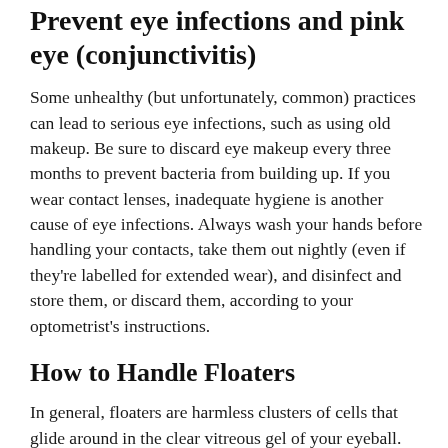Prevent eye infections and pink eye (conjunctivitis)
Some unhealthy (but unfortunately, common) practices can lead to serious eye infections, such as using old makeup. Be sure to discard eye makeup every three months to prevent bacteria from building up. If you wear contact lenses, inadequate hygiene is another cause of eye infections. Always wash your hands before handling your contacts, take them out nightly (even if they're labelled for extended wear), and disinfect and store them, or discard them, according to your optometrist's instructions.
How to Handle Floaters
In general, floaters are harmless clusters of cells that glide around in the clear vitreous gel of your eyeball. Your brain adjusts to floaters, and eventually, you won't see them. However, if you suddenly notice a